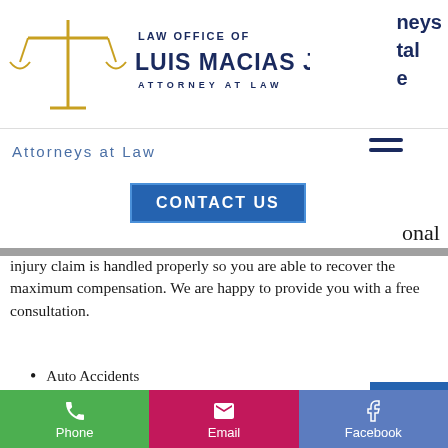[Figure (logo): Law Office of Luis Macias Jr. Attorney at Law logo with scales of justice icon]
neys tal e
Attorneys at Law
[Figure (other): Hamburger menu icon (three horizontal lines)]
[Figure (other): CONTACT US button in blue]
onal injury claim is handled properly so you are able to recover the maximum compensation. We are happy to provide you with a free consultation.
Auto Accidents
Defective or Dangerous Produ...
Dog Bites
Slip and Fall/Trip and Fall
Wrongful Death
[Figure (other): Scroll to top button with upward chevron arrow]
Phone | Email | Facebook